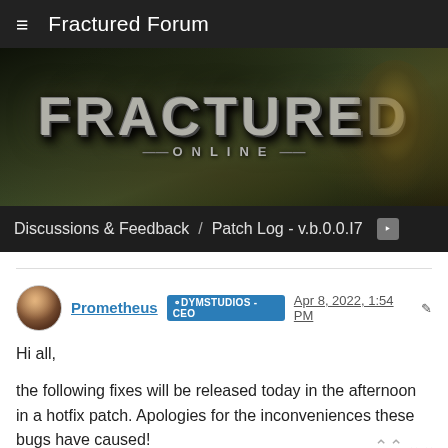≡  Fractured Forum
[Figure (illustration): Fractured Online game banner with dark fantasy background, stone-textured 'FRACTURED' logo text and 'ONLINE' subtitle, armored character on right side]
Discussions & Feedback  /  Patch Log - v.b.0.0.I7
Prometheus  DYMSTUDIOS - CEO  Apr 8, 2022, 1:54 PM
Hi all,
the following fixes will be released today in the afternoon in a hotfix patch. Apologies for the inconveniences these bugs have caused!